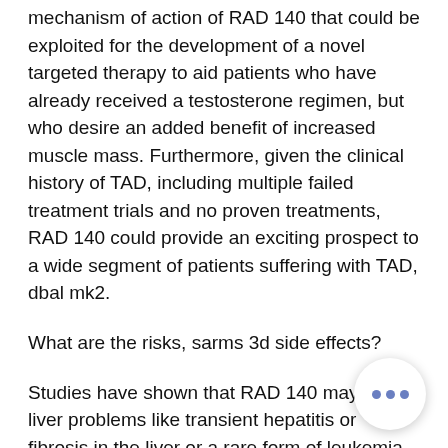mechanism of action of RAD 140 that could be exploited for the development of a novel targeted therapy to aid patients who have already received a testosterone regimen, but who desire an added benefit of increased muscle mass. Furthermore, given the clinical history of TAD, including multiple failed treatment trials and no proven treatments, RAD 140 could provide an exciting prospect to a wide segment of patients suffering with TAD, dbal mk2.
What are the risks, sarms 3d side effects?
Studies have shown that RAD 140 may cause liver problems like transient hepatitis or fibrosis in the liver or a rare form of leukemia. Liver damage may occur for some patients, usually the first few dose cycles. Liver damage may not be fatal, but its presence may be associated with worse of symptoms, sarms 3d side effects.